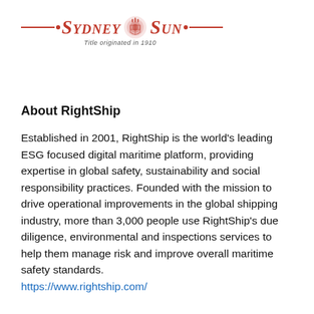[Figure (logo): Sydney Sun newspaper masthead logo with red decorative rules, dots, emblem, and italic blackletter text. Subtitle reads 'Title originated in 1910'.]
About RightShip
Established in 2001, RightShip is the world's leading ESG focused digital maritime platform, providing expertise in global safety, sustainability and social responsibility practices. Founded with the mission to drive operational improvements in the global shipping industry, more than 3,000 people use RightShip's due diligence, environmental and inspections services to help them manage risk and improve overall maritime safety standards.
https://www.rightship.com/